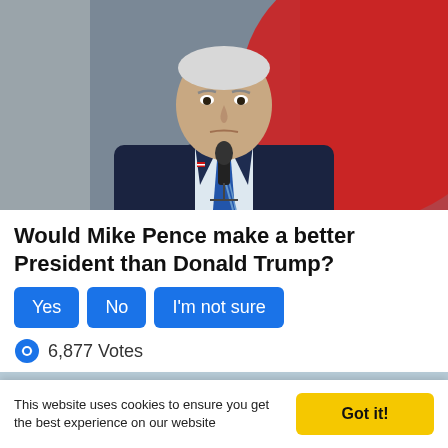[Figure (photo): Photo of Mike Pence in a dark navy suit and striped tie, standing at a microphone with a red background behind him.]
Would Mike Pence make a better President than Donald Trump?
Yes  No  I'm not sure
6,877 Votes
[Figure (photo): Partial bottom image, light blue/grey background.]
This website uses cookies to ensure you get the best experience on our website
Got it!